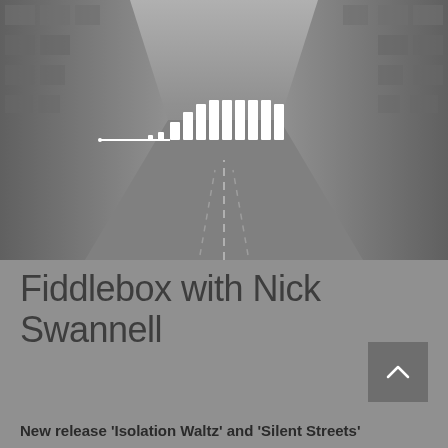[Figure (photo): Grayscale photograph of an empty urban street with tall buildings on either side creating a corridor perspective. A soundcloud-style audio waveform icon (white vertical bars of varying heights) is overlaid in the center-lower portion of the image.]
Fiddlebox with Nick Swannell
New release 'Isolation Waltz' and 'Silent Streets'